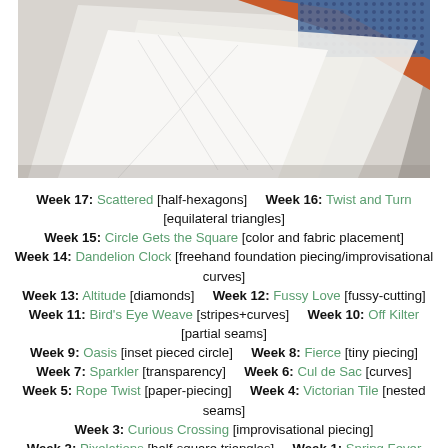[Figure (photo): Close-up photo of quilting fabrics and materials including orange, blue patterned, and white/grey paper or fabric pieces arranged overlapping on a surface]
Week 17: Scattered [half-hexagons]   Week 16: Twist and Turn [equilateral triangles]
Week 15: Circle Gets the Square [color and fabric placement]
Week 14: Dandelion Clock [freehand foundation piecing/improvisational curves]
Week 13: Altitude [diamonds]   Week 12: Fussy Love [fussy-cutting]
Week 11: Bird's Eye Weave [stripes+curves]   Week 10: Off Kilter [partial seams]
Week 9: Oasis [inset pieced circle]   Week 8: Fierce [tiny piecing]
Week 7: Sparkler [transparency]   Week 6: Cul de Sac [curves]
Week 5: Rope Twist [paper-piecing]   Week 4: Victorian Tile [nested seams]
Week 3: Curious Crossing [improvisational piecing]
Week 2: Pixelations [half-square triangles]   Week 1: Spring Fever [precision piecing]